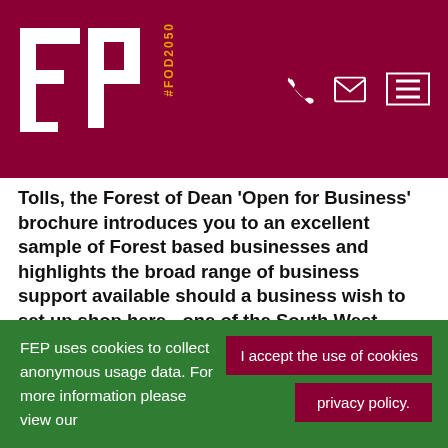FP #FOD2050 logo header with phone, email, and menu icons
Tolls, the Forest of Dean 'Open for Business' brochure introduces you to an excellent sample of Forest based businesses and highlights the broad range of business support available should a business wish to set up shop here  - one of the South West region's best kept secrets.
The publication also promotes the Forest's first-rate secondary and further education provision, and provides a directory of our growing number of social enterprises. A
FEP uses cookies to collect anonymous usage data.  For more information please view our
I accept the use of cookies
privacy policy.